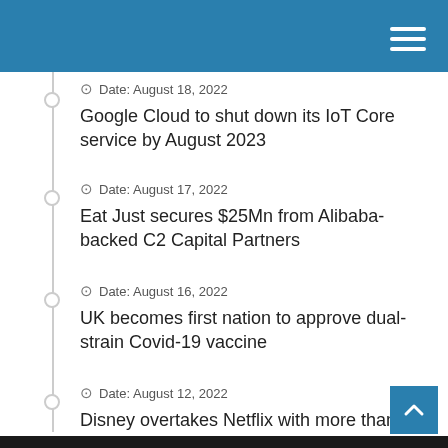Date: August 18, 2022
Google Cloud to shut down its IoT Core service by August 2023
Date: August 17, 2022
Eat Just secures $25Mn from Alibaba-backed C2 Capital Partners
Date: August 16, 2022
UK becomes first nation to approve dual-strain Covid-19 vaccine
Date: August 12, 2022
Disney overtakes Netflix with more than 152Mn streaming subscribers